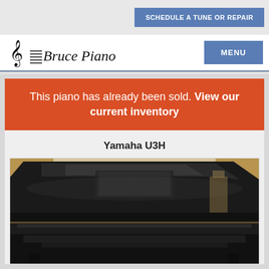SCHEDULE A TUNE OR REPAIR
[Figure (logo): Bruce Piano logo with treble clef and italic script text]
MENU
This piano has already been sold. View our current inventory
Yamaha U3H
[Figure (photo): Close-up photo of a black glossy Yamaha U3H upright piano in a showroom]